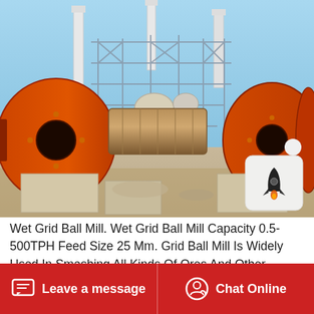[Figure (photo): Industrial photo showing two large orange ball mill machines with a connecting cylindrical drum between them, set in an outdoor industrial facility with steel scaffolding and chimneys in the background under a blue sky.]
Wet Grid Ball Mill. Wet Grid Ball Mill Capacity 0.5-500TPH Feed Size 25 Mm. Grid Ball Mill Is Widely Used In Smashing All Kinds Of Ores And Other Materials, Ore Dressing And National Economic Departments Like Building And Chemical
Leave a message   Chat Online